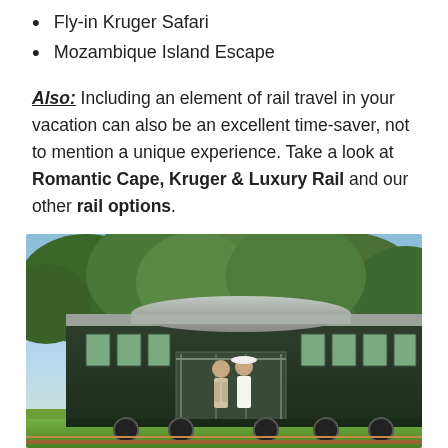Fly-in Kruger Safari
Mozambique Island Escape
Also: Including an element of rail travel in your vacation can also be an excellent time-saver, not to mention a unique experience. Take a look at Romantic Cape, Kruger & Luxury Rail and our other rail options.
[Figure (photo): A couple standing on the rear observation platform of a luxury dark green train car, surrounded by lush green trees and greenery. The train car has a domed silver roof and rows of windows.]